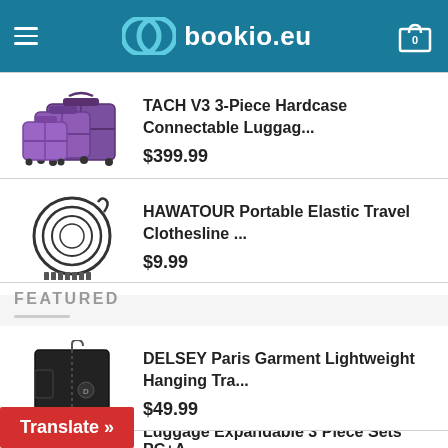bookio.eu
TACH V3 3-Piece Hardcase Connectable Luggag... $399.99
HAWATOUR Portable Elastic Travel Clothesline ... $9.99
FEATURED
DELSEY Paris Garment Lightweight Hanging Tra... $49.99
Luggage Expandable 3 Piece Sets PC+A...
Translate »